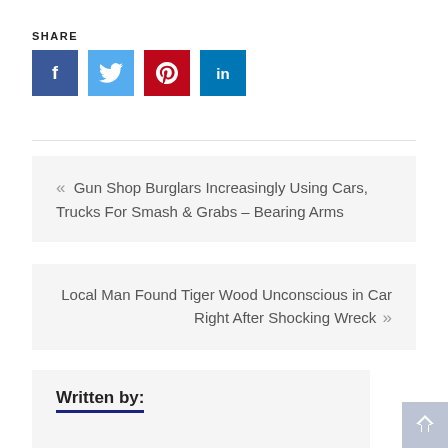SHARE
[Figure (infographic): Social share buttons: Facebook (blue), Twitter (light blue), Pinterest (red), LinkedIn (teal/blue)]
« Gun Shop Burglars Increasingly Using Cars, Trucks For Smash & Grabs – Bearing Arms
Local Man Found Tiger Wood Unconscious in Car Right After Shocking Wreck »
Written by: